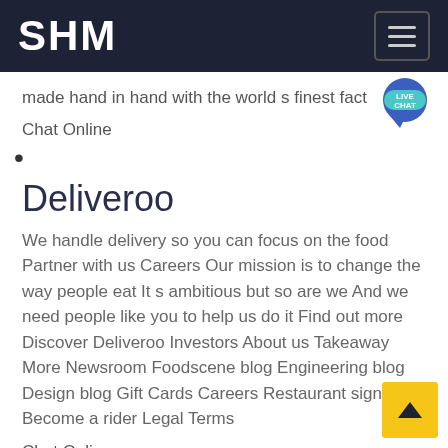SHM
made hand in hand with the world s finest fact
Chat Online
Deliveroo
We handle delivery so you can focus on the food Partner with us Careers Our mission is to change the way people eat It s ambitious but so are we And we need people like you to help us do it Find out more Discover Deliveroo Investors About us Takeaway More Newsroom Foodscene blog Engineering blog Design blog Gift Cards Careers Restaurant signup Become a rider Legal Terms
Chat Online